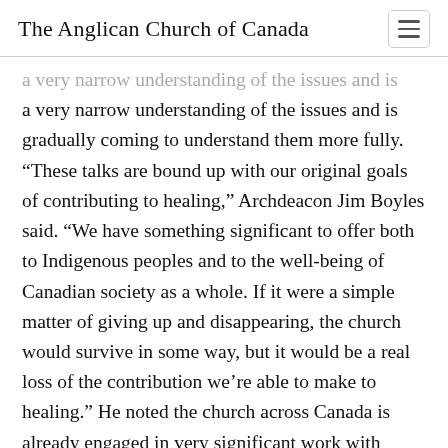The Anglican Church of Canada
a very narrow understanding of the issues and is gradually coming to understand them more fully. “These talks are bound up with our original goals of contributing to healing,” Archdeacon Jim Boyles said. “We have something significant to offer both to Indigenous peoples and to the well-being of Canadian society as a whole. If it were a simple matter of giving up and disappearing, the church would survive in some way, but it would be a real loss of the contribution we’re able to make to healing.” He noted the church across Canada is already engaged in very significant work with